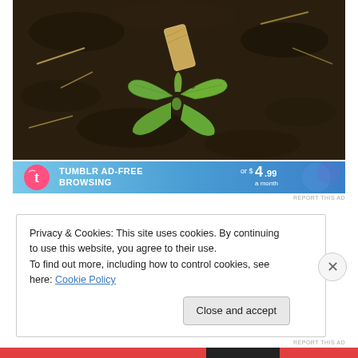[Figure (photo): A young green seedling plant with broad leaves growing in dark soil, with a small cardboard tube visible near it.]
[Figure (screenshot): Tumblr ad banner promoting ad-free browsing for $4.99 a month, with Tumblr logo and blue gradient background.]
REPORT THIS AD
Privacy & Cookies: This site uses cookies. By continuing to use this website, you agree to their use.
To find out more, including how to control cookies, see here: Cookie Policy
Close and accept
REPORT THIS AD